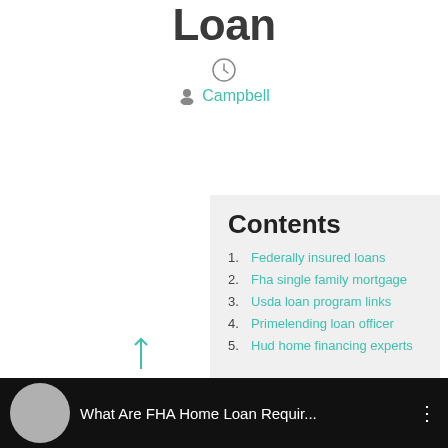Qualify For Fha Loan
[Figure (other): Clock icon]
Campbell
Contents
1. Federally insured loans
2. Fha single family mortgage
3. Usda loan program links
4. Primelending loan officer
5. Hud home financing experts
[Figure (screenshot): Video bar at bottom showing 'What Are FHA Home Loan Requir...' with circular thumbnail and menu dots]